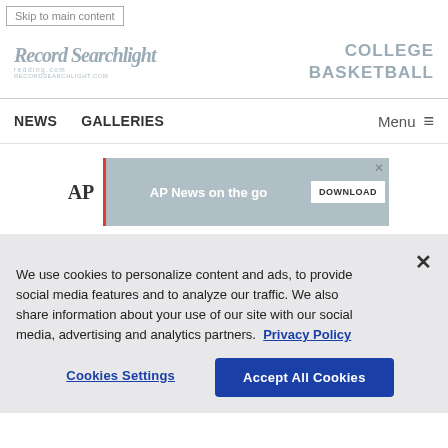Skip to main content
[Figure (logo): Record Searchlight newspaper logo with stylized text and website URL]
COLLEGE BASKETBALL
NEWS   GALLERIES   Menu
[Figure (screenshot): AP News on the go advertisement banner with Download button]
We use cookies to personalize content and ads, to provide social media features and to analyze our traffic. We also share information about your use of our site with our social media, advertising and analytics partners. Privacy Policy
Cookies Settings
Accept All Cookies